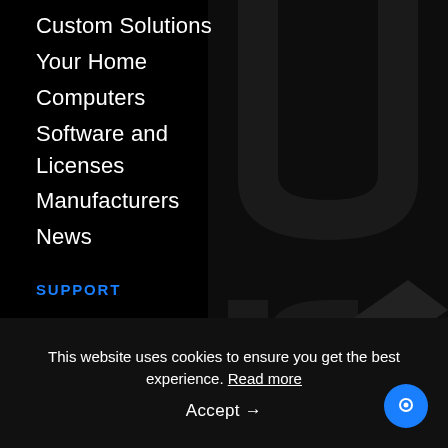Custom Solutions
Your Home
Computers
Software and Licenses
Manufacturers
News
SUPPORT
Technical Support
Delivery & Returns
FAQs
[Figure (illustration): Large decorative dark letters on dark background, right side of page]
This website uses cookies to ensure you get the best experience. Read more
Accept →